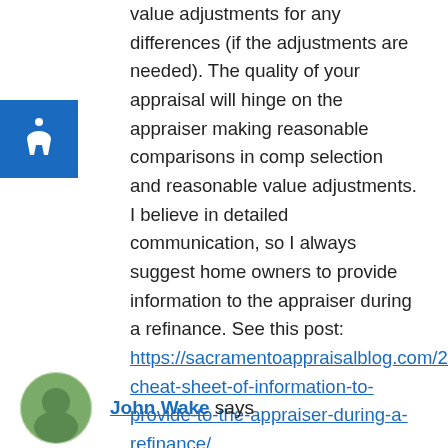value adjustments for any differences (if the adjustments are needed). The quality of your appraisal will hinge on the appraiser making reasonable comparisons in comp selection and reasonable value adjustments. I believe in detailed communication, so I always suggest home owners to provide information to the appraiser during a refinance. See this post: https://sacramentoappraisalblog.com/2014/11/18/a-cheat-sheet-of-information-to-provide-to-the-appraiser-during-a-refinance/
Best wishes.
Reply
John Wake says